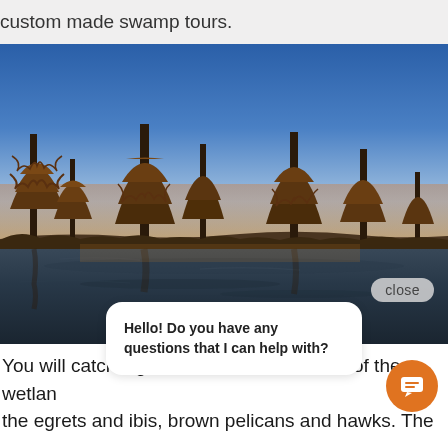custom made swamp tours.
[Figure (photo): Swamp landscape at dusk with cypress trees reflecting in dark water, blue sky with warm golden-orange tones on the trees and horizon.]
close
Hello! Do you have any questions that I can help with?
You will catch sights of the beautiful birds of the wetlands, the egrets and ibis, brown pelicans and hawks. The nocturnal mammals that taught New Orleanians how to live the night life, the opossum, raccoon, and nutria, are